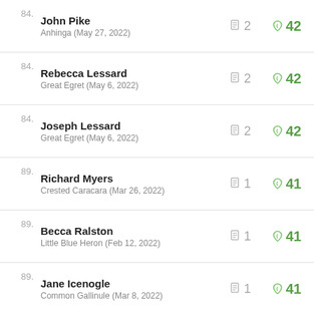84. John Pike — Anhinga (May 27, 2022) — checklists: 2, species: 42
84. Rebecca Lessard — Great Egret (May 6, 2022) — checklists: 2, species: 42
84. Joseph Lessard — Great Egret (May 6, 2022) — checklists: 2, species: 42
89. Richard Myers — Crested Caracara (Mar 26, 2022) — checklists: 1, species: 41
89. Becca Ralston — Little Blue Heron (Feb 12, 2022) — checklists: 1, species: 41
89. Jane Icenogle — Common Gallinule (Mar 8, 2022) — checklists: 1, species: 41
89. Ilario Alvino — Great Horned Owl (Mar 8, 2022) — checklists: 1, species: 41
89. Andy Polinsky — checklists: 2, species: 40